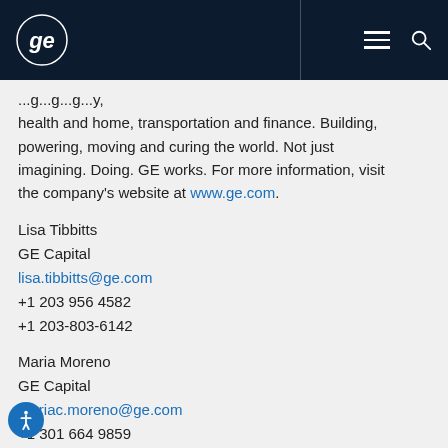[Figure (logo): GE logo in white circle on dark navy navbar with hamburger menu and search icon]
...g...g...g...y, health and home, transportation and finance. Building, powering, moving and curing the world. Not just imagining. Doing. GE works. For more information, visit the company's website at www.ge.com.
Lisa Tibbitts
GE Capital
lisa.tibbitts@ge.com
+1 203 956 4582
+1 203-803-6142
Maria Moreno
GE Capital
mariac.moreno@ge.com
+1 301 664 9859